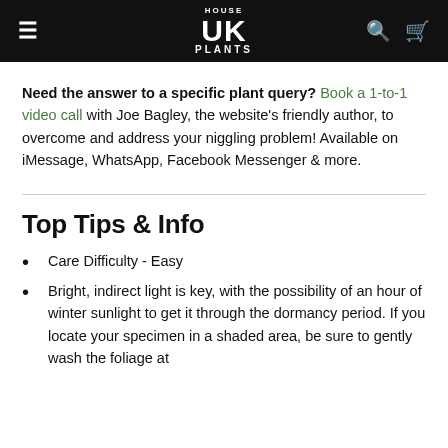HOUSE UK PLANTS
Need the answer to a specific plant query? Book a 1-to-1 video call with Joe Bagley, the website's friendly author, to overcome and address your niggling problem! Available on iMessage, WhatsApp, Facebook Messenger & more.
Top Tips & Info
Care Difficulty - Easy
Bright, indirect light is key, with the possibility of an hour of winter sunlight to get it through the dormancy period. If you locate your specimen in a shaded area, be sure to gently wash the foliage at